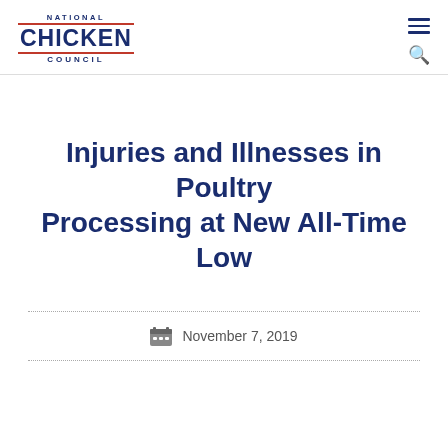National Chicken Council
Injuries and Illnesses in Poultry Processing at New All-Time Low
November 7, 2019